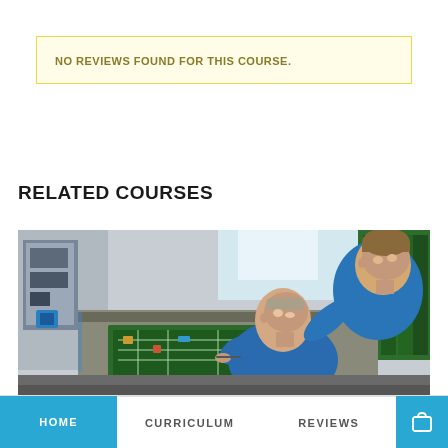NO REVIEWS FOUND FOR THIS COURSE.
RELATED COURSES
[Figure (photo): Two people in blue work uniforms examining or repairing electrical equipment on a panel or machine in a workshop setting.]
HOME   CURRICULUM   REVIEWS